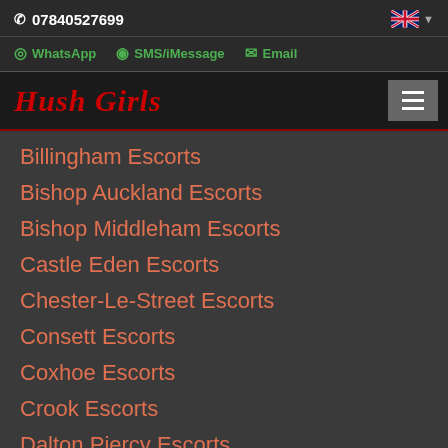07840527699
WhatsApp  SMS/iMessage  Email
Hush Girls
Billingham Escorts
Bishop Auckland Escorts
Bishop Middleham Escorts
Castle Eden Escorts
Chester-Le-Street Escorts
Consett Escorts
Coxhoe Escorts
Crook Escorts
Dalton Piercy Escorts
Darlington Escorts
Durham Escorts